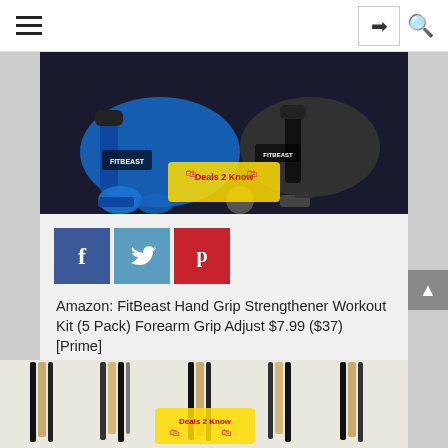Navigation bar with hamburger menu, login button, and search icon
[Figure (photo): FitBeast Hand Grip Strengthener workout kit product photo showing blue and black grip tools with accessories on dark background, with Deals 2 Know watermark overlay]
[Figure (infographic): Social sharing buttons row: Facebook (blue), Twitter (blue-grey), Pinterest (red)]
Amazon: FitBeast Hand Grip Strengthener Workout Kit (5 Pack) Forearm Grip Adjust $7.99 ($37) [Prime]
VIEW THE DEAL
[Figure (photo): Bottom strip showing makeup/cosmetic pencil and brush products in gold/black packaging with Deals 2 Know watermark]